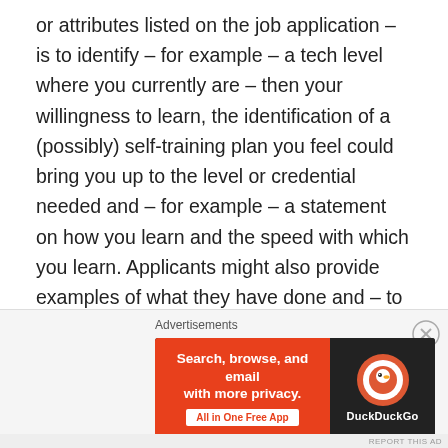or attributes listed on the job application – is to identify – for example – a tech level where you currently are – then your willingness to learn, the identification of a (possibly) self-training plan you feel could bring you up to the level or credential needed and – for example – a statement on how you learn and the speed with which you learn. Applicants might also provide examples of what they have done and – to provide validity to that – match up who in your references might know that information about you first hand. Then invite the potential manager with an invitation to contact the reference and ask about something specific to the skills and abilities or knowledge area to assure a potential supervisor that you are part of
Advertisements
[Figure (other): DuckDuckGo advertisement banner with orange left panel reading 'Search, browse, and email with more privacy. All in One Free App' and dark right panel with DuckDuckGo logo and brand name.]